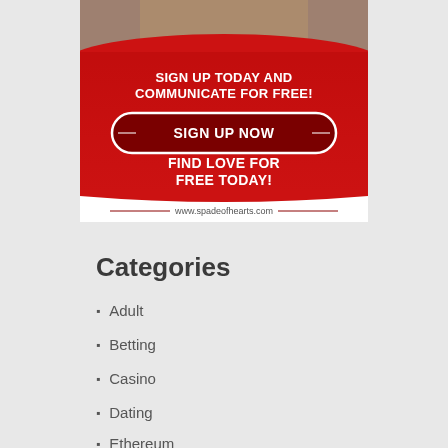[Figure (illustration): Advertisement banner for spadeofhearts.com dating site. Red background with white bold text: 'SIGN UP TODAY AND COMMUNICATE FOR FREE!' and a dark red rounded button with 'SIGN UP NOW'. Below: 'FIND LOVE FOR FREE TODAY!' and the website URL www.spadeofhearts.com with decorative lines, on a white bottom strip.]
Categories
Adult
Betting
Casino
Dating
Ethereum